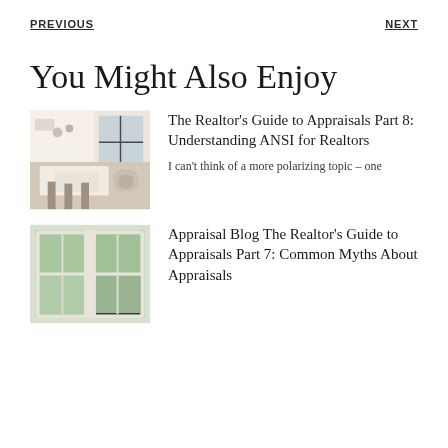PREVIOUS    NEXT
You Might Also Enjoy
[Figure (photo): Bright modern kitchen with white countertops, bar stools, pendant lights, and dark-framed windows]
The Realtor's Guide to Appraisals Part 8: Understanding ANSI for Realtors
I can't think of a more polarizing topic – one
[Figure (photo): Interior view of large white-framed windows with green foliage visible outside]
Appraisal Blog The Realtor's Guide to Appraisals Part 7: Common Myths About Appraisals